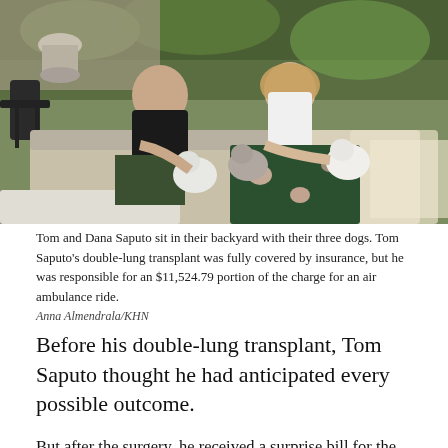[Figure (photo): Tom and Dana Saputo sitting in their backyard on outdoor patio furniture with their three small white/gray dogs. A man in a black t-shirt and olive pants sits on the left, a woman in a white shirt and green floral skirt sits on the right. Lush green trees and patio furniture visible in background.]
Tom and Dana Saputo sit in their backyard with their three dogs. Tom Saputo's double-lung transplant was fully covered by insurance, but he was responsible for an $11,524.79 portion of the charge for an air ambulance ride.
Anna Almendrala/KHN
Before his double-lung transplant, Tom Saputo thought he had anticipated every possible outcome.
But after the surgery, he received a surprise bill for the price of the